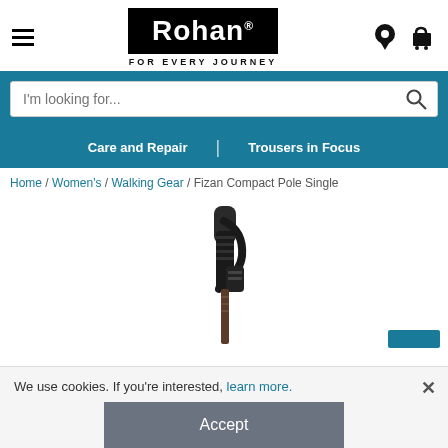[Figure (logo): Rohan logo — white text on black background with tagline FOR EVERY JOURNEY]
[Figure (screenshot): Search bar with placeholder text I'm looking for... and search icon]
Care and Repair | Trousers in Focus
Home / Women's / Walking Gear / Fizan Compact Pole Single
[Figure (photo): Product photo of a Fizan Compact walking pole showing handle grip and wrist strap]
We use cookies. If you're interested, learn more.
Accept